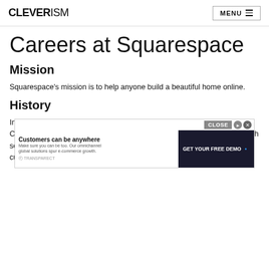CLEVERISM | MENU
Careers at Squarespace
Mission
Squarespace's mission is to help anyone build a beautiful home online.
History
In 2003, Anthony Casalena was a student at the University of Maryland, College Park. He wanted to build his own website, but was dissatisfied with services available for doing so at the time. None of the offered an all-e… custom… to
[Figure (screenshot): Advertisement overlay: 'Customers can be anywhere — Make sure you can be too. Our omnichannel global solutions spur e-commerce growth.' with a CLOSE button and GET YOUR FREE DEMO CTA.]